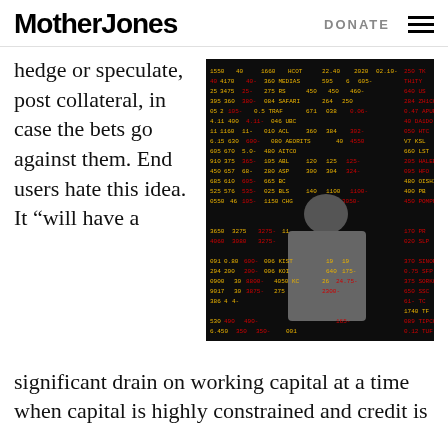Mother Jones | DONATE
hedge or speculate, post collateral, in case the bets go against them. End users hate this idea. It “will have a
[Figure (photo): A person viewed from behind looking at a large stock market trading board displaying ticker symbols and prices in red and yellow text on a black background.]
significant drain on working capital at a time when capital is highly constrained and credit is